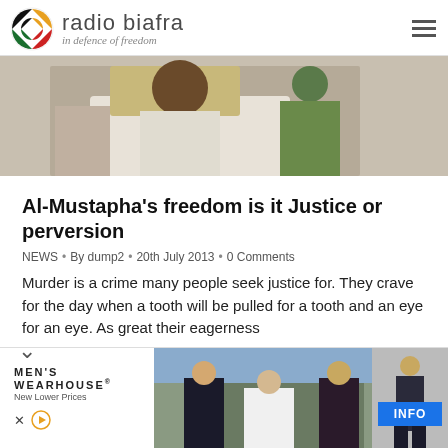radio biafra — in defence of freedom
[Figure (photo): Photograph showing people in traditional/formal attire, partially cropped at top of page]
Al-Mustapha's freedom is it Justice or perversion
NEWS • By dump2 • 20th July 2013 • 0 Comments
Murder is a crime many people seek justice for. They crave for the day when a tooth will be pulled for a tooth and an eye for an eye. As great their eagerness
[Figure (photo): Advertisement banner — Men's Wearhouse featuring formal wear/suits photo with INFO button]